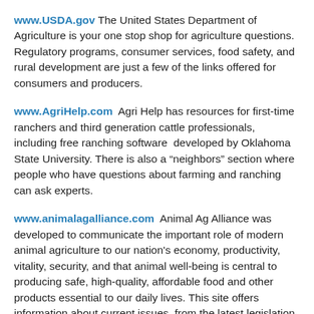www.USDA.gov The United States Department of Agriculture is your one stop shop for agriculture questions. Regulatory programs, consumer services, food safety, and rural development are just a few of the links offered for consumers and producers.
www.AgriHelp.com Agri Help has resources for first-time ranchers and third generation cattle professionals, including free ranching software developed by Oklahoma State University. There is also a “neighbors” section where people who have questions about farming and ranching can ask experts.
www.animalagalliance.com Animal Ag Alliance was developed to communicate the important role of modern animal agriculture to our nation's economy, productivity, vitality, security, and that animal well-being is central to producing safe, high-quality, affordable food and other products essential to our daily lives. This site offers information about current issues, from the latest legislation facing agriculture to animal welfare.